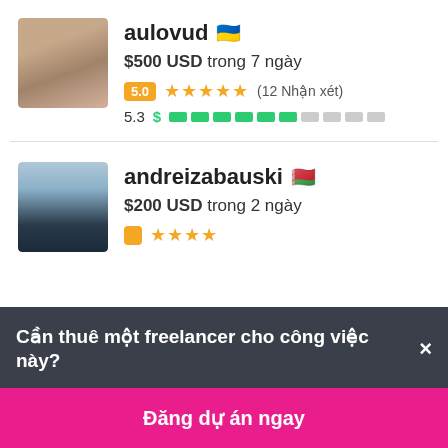[Figure (photo): Avatar photo of user aulovud]
aulovud 🇺🇦
$500 USD trong 7 ngày
5.0 ★★★★★ (12 Nhận xét)
5.3 $ [progress bar]
[Figure (photo): Avatar photo of user andreizabauski]
andreizabauski 🇧🇾
$200 USD trong 2 ngày
Cần thuê một freelancer cho công việc này? ×
Đăng dự án ngay